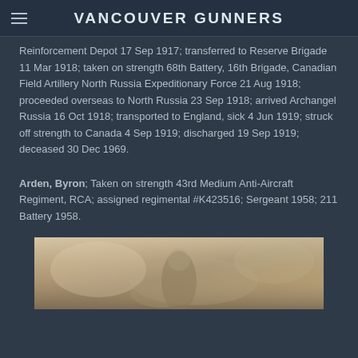VANCOUVER GUNNERS
Reinforcement Depot 17 Sep 1917; transferred to Reserve Brigade 11 Mar 1918; taken on strength 68th Battery, 16th Brigade, Canadian Field Artillery North Russia Expeditionary Force 21 Aug 1918; proceeded overseas to North Russia 23 Sep 1918; arrived Archangel Russia 16 Oct 1918; transported to England, sick 4 Jun 1919; struck off strength to Canada 4 Sep 1919; discharged 19 Sep 1919; deceased 30 Dec 1969.
Arden, Byron; Taken on strength 43rd Medium Anti-Aircraft Regiment, RCA; assigned regimental #K423516; Sergeant 1958; 211 Battery 1958.
[Figure (photo): Partially visible historical photograph, appears to show a person outdoors, cropped at bottom of page.]